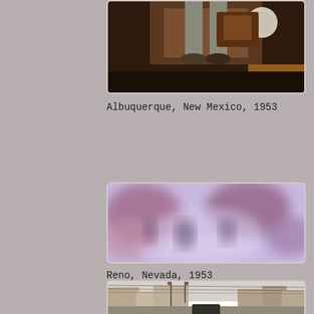[Figure (photo): Partial photo from above showing a person's lower body standing on what appears to be a vehicle or machinery interior, dark warm tones, 1953]
Albuquerque, New Mexico, 1953
[Figure (photo): Blurry lavender/purple toned street scene photo, out of focus, Reno Nevada 1953]
Reno, Nevada, 1953
[Figure (photo): Partially visible street scene photo showing buildings, street lamps, and overhead wires, bottom of page cropped]